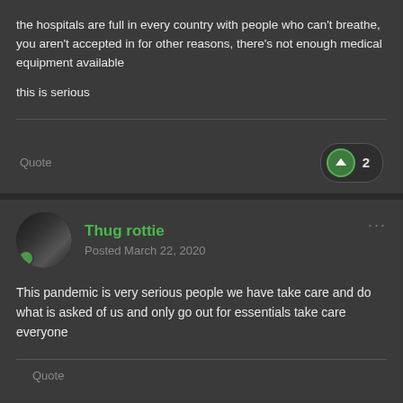the hospitals are full in every country with people who can't breathe, you aren't accepted in for other reasons, there's not enough medical equipment available
this is serious
Quote
2
Thug rottie
Posted March 22, 2020
This pandemic is very serious people we have take care and do what is asked of us and only go out for essentials take care everyone
Quote